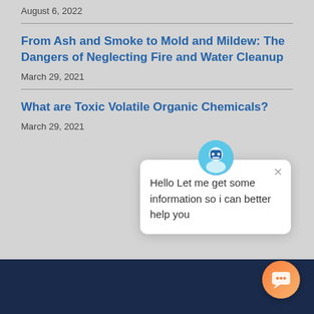August 6, 2022
From Ash and Smoke to Mold and Mildew: The Dangers of Neglecting Fire and Water Cleanup
March 29, 2021
What are Toxic Volatile Organic Chemicals?
March 29, 2021
Hello Let me get some information so i can better help you